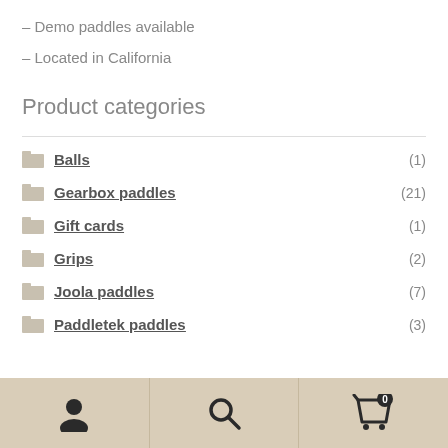– Demo paddles available
– Located in California
Product categories
Balls (1)
Gearbox paddles (21)
Gift cards (1)
Grips (2)
Joola paddles (7)
Paddletek paddles (3)